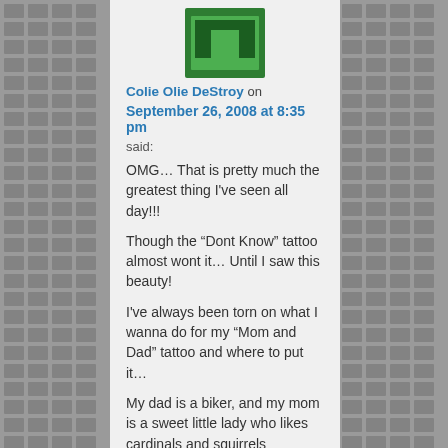[Figure (logo): Green square avatar with stylized T-shaped or bracket logo in dark green on lighter green background]
Colie Olie DeStroy on
September 26, 2008 at 8:35 pm
said:
OMG… That is pretty much the greatest thing I've seen all day!!!
Though the “Dont Know” tattoo almost wont it… Until I saw this beauty!
I've always been torn on what I wanna do for my “Mom and Dad” tattoo and where to put it…
My dad is a biker, and my mom is a sweet little lady who likes cardinals and squirrels